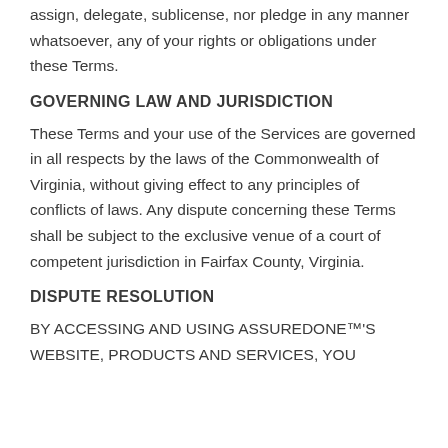assign, delegate, sublicense, nor pledge in any manner whatsoever, any of your rights or obligations under these Terms.
GOVERNING LAW AND JURISDICTION
These Terms and your use of the Services are governed in all respects by the laws of the Commonwealth of Virginia, without giving effect to any principles of conflicts of laws. Any dispute concerning these Terms shall be subject to the exclusive venue of a court of competent jurisdiction in Fairfax County, Virginia.
DISPUTE RESOLUTION
BY ACCESSING AND USING ASSUREDONE™'S WEBSITE, PRODUCTS AND SERVICES, YOU